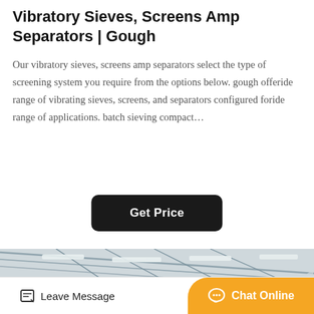Vibratory Sieves, Screens Amp Separators | Gough
Our vibratory sieves, screens amp separators select the type of screening system you require from the options below. gough offeride range of vibrating sieves, screens, and separators configured foride range of applications. batch sieving compact…
[Figure (other): Black rounded rectangular button with white bold text 'Get Price']
[Figure (photo): Interior of a large industrial warehouse or factory with high ceiling, steel roof trusses, skylights and windows on the walls, and industrial machinery (orange/red and black equipment) visible on the floor.]
Leave Message   Chat Online